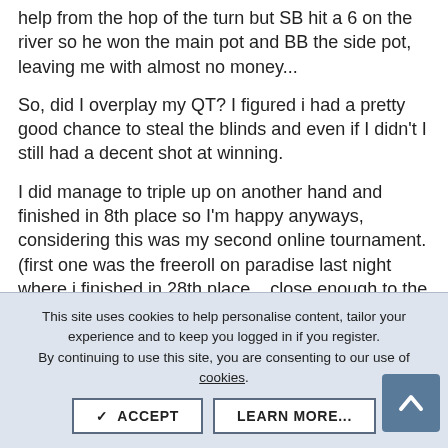help from the hop of the turn but SB hit a 6 on the river so he won the main pot and BB the side pot, leaving me with almost no money...
So, did I overplay my QT? I figured i had a pretty good chance to steal the blinds and even if I didn't I still had a decent shot at winning.
I did manage to triple up on another hand and finished in 8th place so I'm happy anyways, considering this was my second online tournament. (first one was the freeroll on paradise last night where i finished in 28th place... close enough to the money to really annoy me 🙂 )
↩ Reply
This site uses cookies to help personalise content, tailor your experience and to keep you logged in if you register. By continuing to use this site, you are consenting to our use of cookies.
✓ ACCEPT
LEARN MORE...